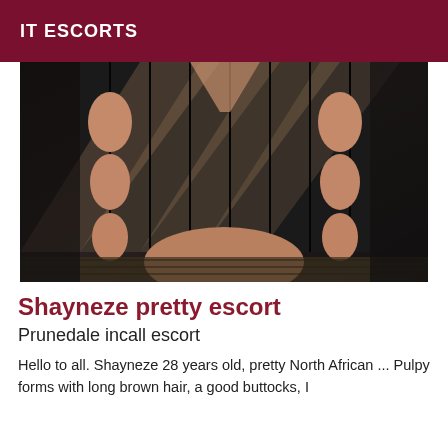IT ESCORTS
[Figure (photo): Close-up photo of a person wearing a dark fishnet/mesh bodysuit with striped pattern and cutout details]
Shayneze pretty escort
Prunedale incall escort
Hello to all. Shayneze 28 years old, pretty North African ... Pulpy forms with long brown hair, a good buttocks, I